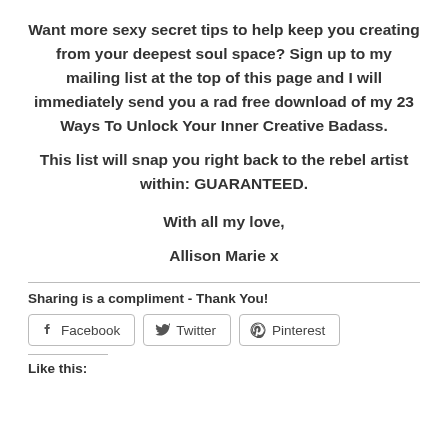Want more sexy secret tips to help keep you creating from your deepest soul space? Sign up to my mailing list at the top of this page and I will immediately send you a rad free download of my 23 Ways To Unlock Your Inner Creative Badass.
This list will snap you right back to the rebel artist within: GUARANTEED.
With all my love,
Allison Marie x
Sharing is a compliment - Thank You!
[Figure (other): Social sharing buttons: Facebook, Twitter, Pinterest]
Like this: